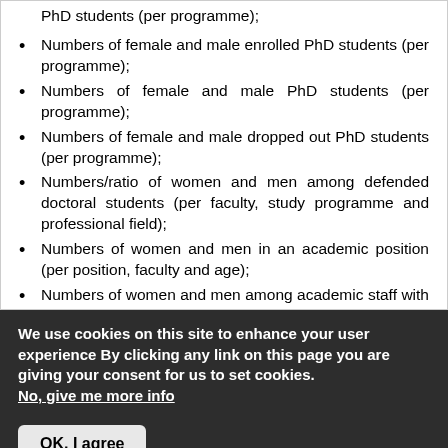PhD students (per programme);
Numbers of female and male enrolled PhD students (per programme);
Numbers of female and male PhD students (per programme);
Numbers of female and male dropped out PhD students (per programme);
Numbers/ratio of women and men among defended doctoral students (per faculty, study programme and professional field);
Numbers of women and men in an academic position (per position, faculty and age);
Numbers of women and men among academic staff with scientific degrees (per faculty and degree).
We use cookies on this site to enhance your user experience By clicking any link on this page you are giving your consent for us to set cookies. No, give me more info
OK, I agree